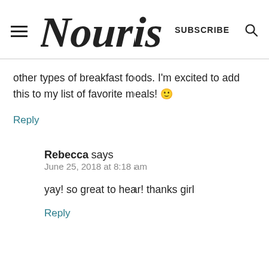Nourish — SUBSCRIBE
other types of breakfast foods. I'm excited to add this to my list of favorite meals! 🙂
Reply
Rebecca says
June 25, 2018 at 8:18 am
yay! so great to hear! thanks girl
Reply